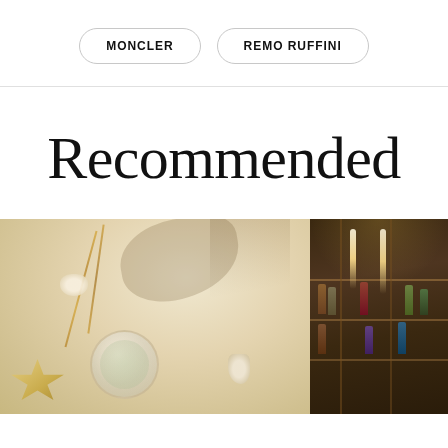MONCLER   REMO RUFFINI
Recommended
[Figure (photo): Gold jewelry locket necklace and seashells arranged on white sand beach, with starfish and shells visible, warm sunlit shadows]
[Figure (photo): Interior of an upscale bar or restaurant with warm pendant lighting, dark wood shelving stocked with bottles, moody atmospheric setting]